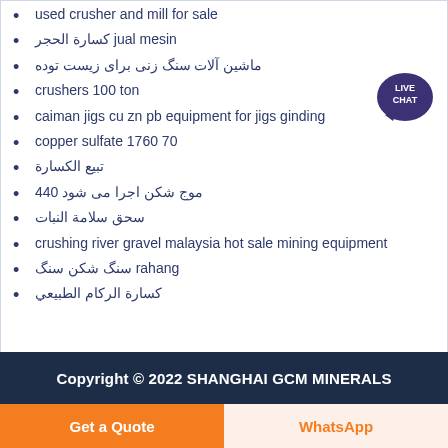used crusher and mill for sale
كسارة الحجر jual mesin
ماشين آلات سنگ زنى براى زيست توده
crushers 100 ton
caiman jigs cu zn pb equipment for jigs ginding
copper sulfate 1760 70
تبيع الكسارة
موج شکن اجرا می شود 440
سحق سلامة النبات
crushing river gravel malaysia hot sale mining equipment
سنگ شکن سنگ rahang
كسارة الركام الطبيعي
Copyright © 2022 SHANGHAI GCM MINERALS